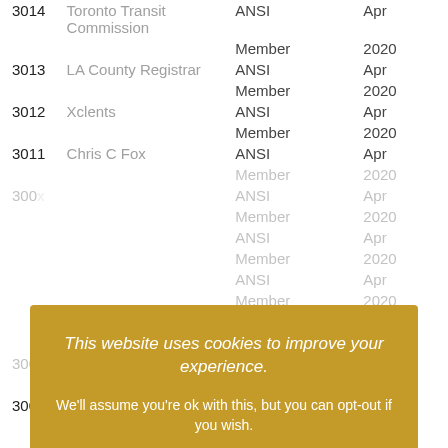| ID | Name | Type | Date |
| --- | --- | --- | --- |
| 3014 | Toronto Transit Commission | ANSI | Apr |
|  |  | Member | 2020 |
| 3013 | LA County Registrar | ANSI | Apr |
|  |  | Member | 2020 |
| 3012 | Xclents | ANSI | Apr |
|  |  | Member | 2020 |
| 3011 | Chris C Fox | ANSI | Apr |
|  |  | Member | 2020 |
| ... | ... | ANSI | Apr |
|  |  | Member | 2020 |
| ... | ... | ANSI | Apr |
|  |  | Member | 2020 |
| ... | ... | ANSI | Apr |
|  |  | Member | 2020 |
| 3005 | ... | ANSI | Apr |
|  |  | Member | 2020 |
| 3004 | Strategi Consulting | ANSI | Apr |
|  |  | Member | 2020 |
This website uses cookies to improve your experience. We'll assume you're ok with this, but you can opt-out if you wish. ACCEPT. Cookie settings. Read More.